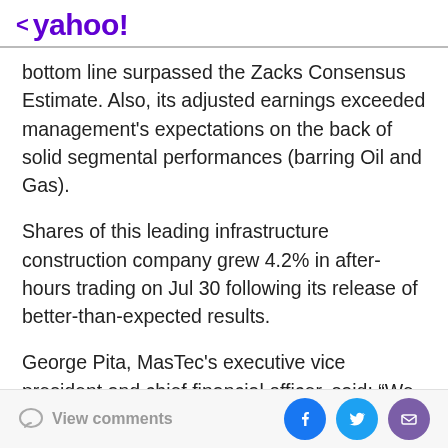< yahoo!
bottom line surpassed the Zacks Consensus Estimate. Also, its adjusted earnings exceeded management's expectations on the back of solid segmental performances (barring Oil and Gas).
Shares of this leading infrastructure construction company grew 4.2% in after-hours trading on Jul 30 following its release of better-than-expected results.
George Pita, MasTec's executive vice president and chief financial officer, said: “We continue to monitor current conditions and prudently manage our cash flow and liquidity, and our strong first half 2020 cash flow
View comments